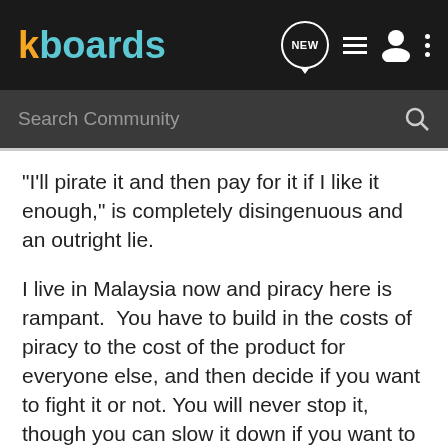kboards
Search Community
"I'll pirate it and then pay for it if I like it enough," is completely disingenuous and an outright lie.
I live in Malaysia now and piracy here is rampant.  You have to build in the costs of piracy to the cost of the product for everyone else, and then decide if you want to fight it or not.  You will never stop it, though you can slow it down if you want to really spend the effort.
DRM can be removed from every eBook published.
Paper books are scanned and put online in torrents all the time.
You can choose to go after the sites that post your books, or